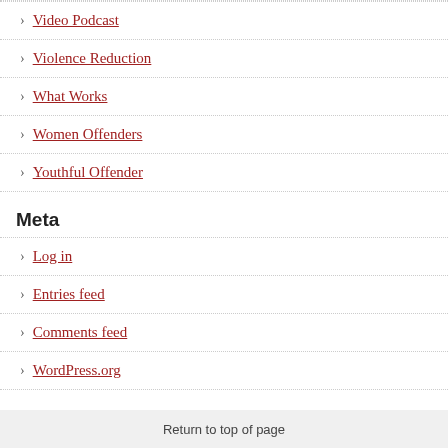Video Podcast
Violence Reduction
What Works
Women Offenders
Youthful Offender
Meta
Log in
Entries feed
Comments feed
WordPress.org
Return to top of page